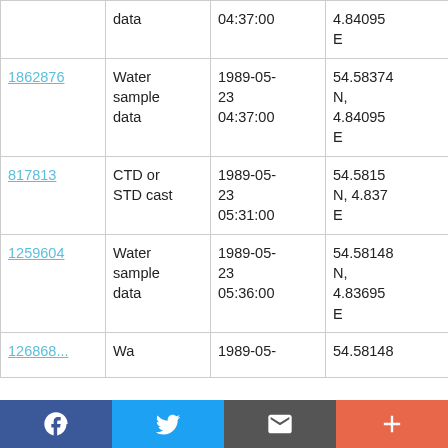|  | data | 04:37:00 | 4.84095 E | CH52 |
| 1862876 | Water sample data | 1989-05-23 04:37:00 | 54.58374 N, 4.84095 E | RRS Challenger CH52 |
| 817813 | CTD or STD cast | 1989-05-23 05:31:00 | 54.5815 N, 4.837 E | RRS Challenger CH52 |
| 1259604 | Water sample data | 1989-05-23 05:36:00 | 54.58148 N, 4.83695 E | RRS Challenger CH52 |
| ... | Water... | 1989-05-... | 54.58148... | RRS... |